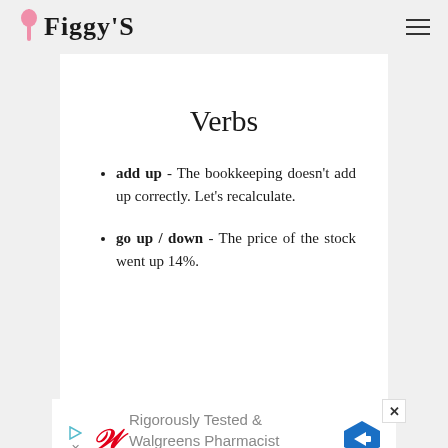Figgy'S
Verbs
add up - The bookkeeping doesn't add up correctly. Let's recalculate.
go up / down - The price of the stock went up 14%.
[Figure (other): Advertisement banner: Rigorously Tested & Walgreens Pharmacist Recommended, with Walgreens W logo and blue diamond arrow icon]